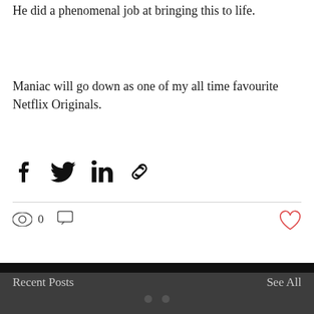He did a phenomenal job at bringing this to life.
Maniac will go down as one of my all time favourite Netflix Originals.
[Figure (other): Social share icons row: Facebook, Twitter, LinkedIn, and link/chain icon]
[Figure (other): Post engagement row: eye/views icon with count 0, comment icon, and red heart/like icon on the right]
[Figure (other): Recent Posts section with dark background, 'Recent Posts' label on left, 'See All' on right, two dots indicating pagination, and a dark card/image area below]